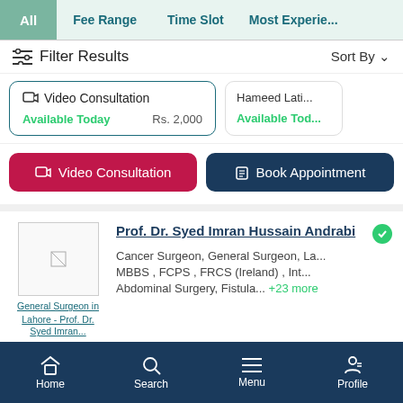All | Fee Range | Time Slot | Most Experienced
Filter Results   Sort By
Video Consultation
Available Today
Rs. 2,000
Hameed Lati...
Available Tod...
Video Consultation   Book Appointment
Prof. Dr. Syed Imran Hussain Andrabi
Cancer Surgeon, General Surgeon, La...
MBBS , FCPS , FRCS (Ireland) , Int...
Abdominal Surgery, Fistula... +23 more
Home | Search | Menu | Profile